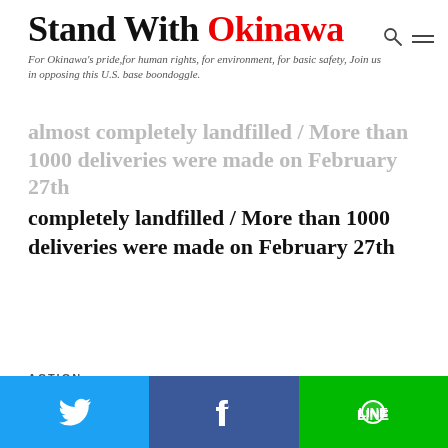Stand With Okinawa — For Okinawa's pride, for human rights, for environment, for basic safety, Join us in opposing this U.S. base boondoggle.
almost completely landfilled / More than 1000 deliveries were made on February 27th
ACTION
Feb 28 (Tue) Action ③ …